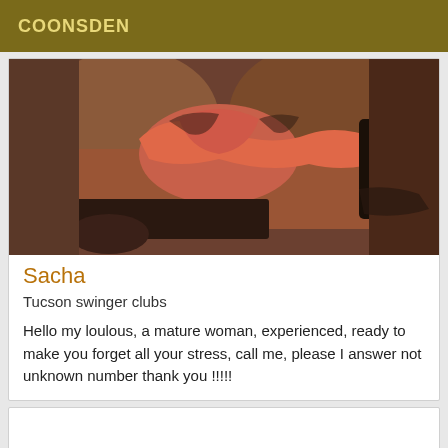COONSDEN
[Figure (photo): Close-up photo of a person in red and black lingerie]
Sacha
Tucson swinger clubs
Hello my loulous, a mature woman, experienced, ready to make you forget all your stress, call me, please I answer not unknown number thank you !!!!!